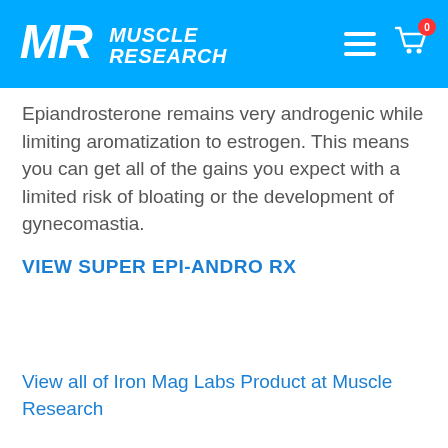MR Muscle Research
Epiandrosterone remains very androgenic while limiting aromatization to estrogen. This means you can get all of the gains you expect with a limited risk of bloating or the development of gynecomastia.
VIEW SUPER EPI-ANDRO RX
View all of Iron Mag Labs Product at Muscle Research